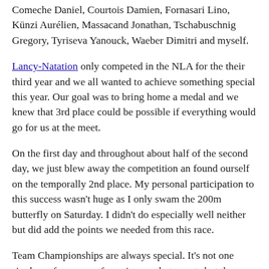Comeche Daniel, Courtois Damien, Fornasari Lino, Künzi Aurélien, Massacand Jonathan, Tschabuschnig Gregory, Tyriseva Yanouck, Waeber Dimitri and myself.
Lancy-Natation only competed in the NLA for the their third year and we all wanted to achieve something special this year. Our goal was to bring home a medal and we knew that 3rd place could be possible if everything would go for us at the meet.
On the first day and throughout about half of the second day, we just blew away the competition an found ourself on the temporally 2nd place. My personal participation to this success wasn't huge as I only swam the 200m butterfly on Saturday. I didn't do especially well neither but did add the points we needed from this race.
Team Championships are always special. It's not one single performance of a swimmer that counts but the overall point results of all races. That's why I can be happy with this weekend